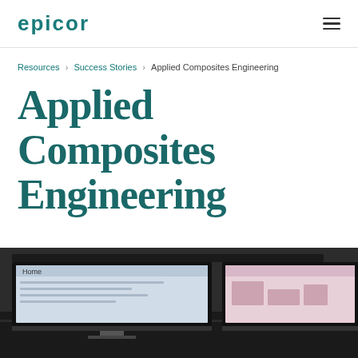EPICOR
Resources > Success Stories > Applied Composites Engineering
Applied Composites Engineering
[Figure (photo): Photo of computer monitors/screens on a dark desk surface, showing home screen interfaces]